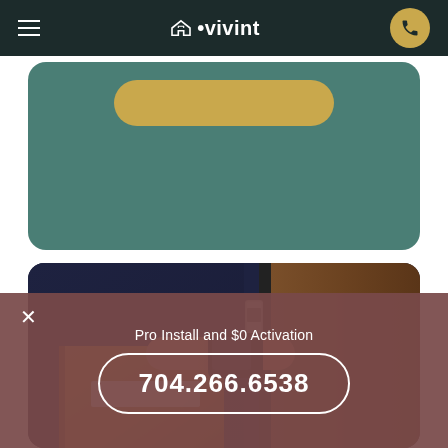vivint
[Figure (screenshot): Vivint website screenshot showing navigation bar with hamburger menu, Vivint logo, and phone button; a teal card with a gold pill button; a photo of a person holding a package touching a door keypad smart lock; and a bottom banner with Pro Install and $0 Activation promo and phone number 704.266.6538]
Pro Install and $0 Activation
704.266.6538